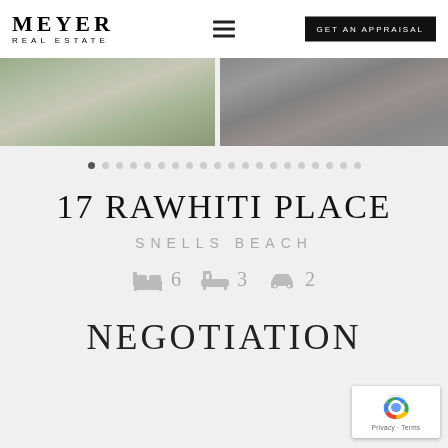[Figure (logo): Meyer Real Estate logo — MEYER in large serif uppercase, REAL ESTATE in smaller spaced uppercase below]
[Figure (photo): Two property photos side by side: left shows a driveway with hedges, right shows an outdoor patio with wicker furniture]
17 RAWHITI PLACE
SNELLS BEACH
6 bedrooms, 3 bathrooms, 2 car parks
NEGOTIATION